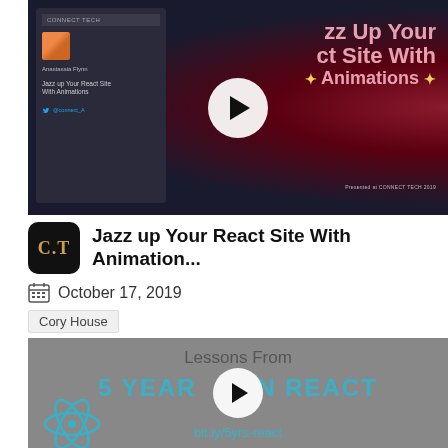[Figure (screenshot): Video thumbnail for 'Jazz Up Your React Site With Animations' talk at Connect Tech 2019, dark background with pink/red halftone dots, play button overlay]
Jazz up Your React Site With Animation...
October 17, 2019
Cory House
[Figure (screenshot): Video thumbnail showing 'Lessons From 5 YEARS IN REACT' with teal text, React logo, and bit.ly/5yrs-react URL, play button overlay]